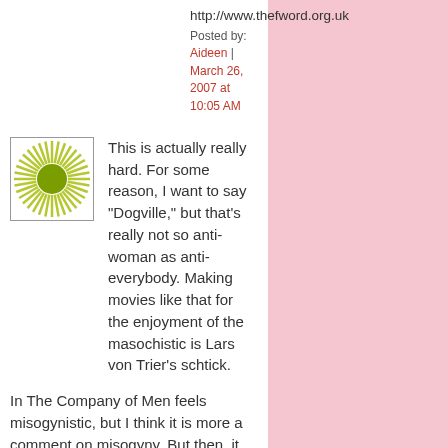http://www.thefword.org.uk
Posted by: Aideen | March 26, 2007 at 10:05 AM
[Figure (illustration): Green sunburst / radial design icon with olive green circle center on white background, square avatar image]
This is actually really hard. For some reason, I want to say "Dogville," but that's really not so anti-woman as anti-everybody. Making movies like that for the enjoyment of the masochistic is Lars von Trier's schtick.
In The Company of Men feels misogynistic, but I think it is more a comment on misogyny. But then, it was directed by the same guy who did "The Wicker Man," so I could be wrong.
As for Feminist movies